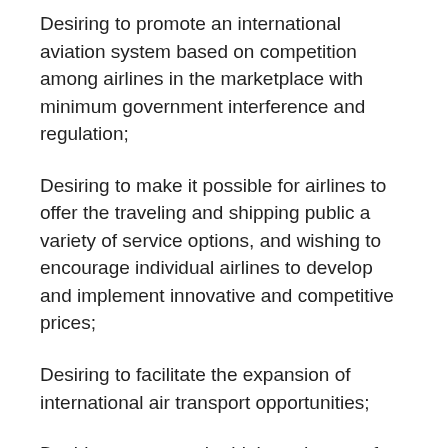Desiring to promote an international aviation system based on competition among airlines in the marketplace with minimum government interference and regulation;
Desiring to make it possible for airlines to offer the traveling and shipping public a variety of service options, and wishing to encourage individual airlines to develop and implement innovative and competitive prices;
Desiring to facilitate the expansion of international air transport opportunities;
Desiring to ensure the highest degree of safety and